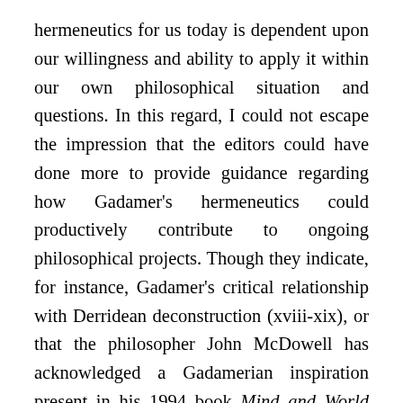hermeneutics for us today is dependent upon our willingness and ability to apply it within our own philosophical situation and questions. In this regard, I could not escape the impression that the editors could have done more to provide guidance regarding how Gadamer's hermeneutics could productively contribute to ongoing philosophical projects. Though they indicate, for instance, Gadamer's critical relationship with Derridean deconstruction (xviii-xix), or that the philosopher John McDowell has acknowledged a Gadamerian inspiration present in his 1994 book Mind and World (xiii), are there more recent, active philosophical projects that are being carried out in what we might think of as a Gadamerian spirit? Does Gadamer's critique of the objectivizing methodology of the natural sciences hit its mark, or may he find sympathetic ears in contemporary post-positivist practitioners of the philosophy of science?